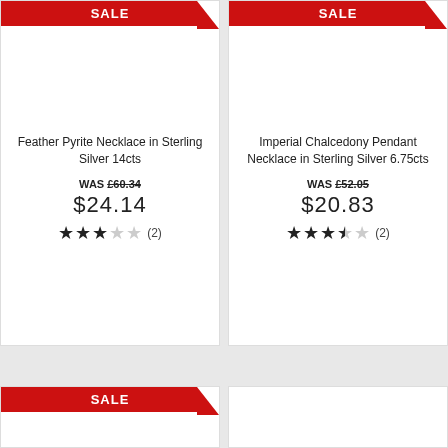[Figure (other): Product card: Feather Pyrite Necklace in Sterling Silver 14cts. SALE banner, white image area, title, WAS £60.34 price, $24.14 sale price, 2.5-star rating (2 reviews)]
[Figure (other): Product card: Imperial Chalcedony Pendant Necklace in Sterling Silver 6.75cts. SALE banner, white image area, title, WAS £52.05 price, $20.83 sale price, 3.5-star rating (2 reviews)]
[Figure (other): Partial product card with SALE banner at bottom of page]